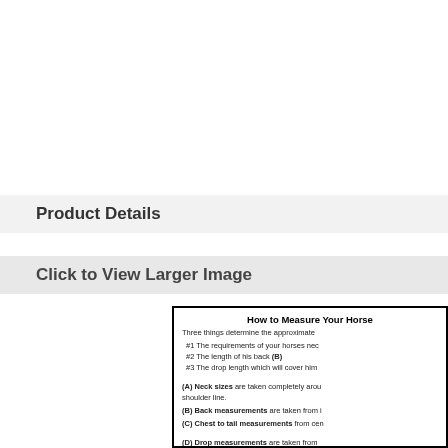Product Details
Click to View Larger Image
How to Measure Your Horse
Three things determine the approximate
#1 The requirements of your horses nec
#2 The length of his back (B)
#3 The drop length which will cover him
(A) Neck sizes are taken completely arou shoulder line.
(B) Back measurements are taken from i
(C) Chest to tail measurements from cen
(D) Drop measurements are taken from the horses' sides.